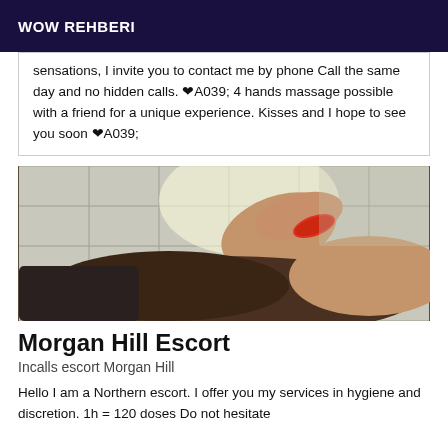WOW REHBERI
sensations, I invite you to contact me by phone Call the same day and no hidden calls. ❤A039; 4 hands massage possible with a friend for a unique experience. Kisses and I hope to see you soon ❤A039;
[Figure (photo): Close-up photo showing hands performing a massage on a person's head/neck area, with tiled background visible]
Morgan Hill Escort
Incalls escort Morgan Hill
Hello I am a Northern escort. I offer you my services in hygiene and discretion. 1h = 120 doses Do not hesitate